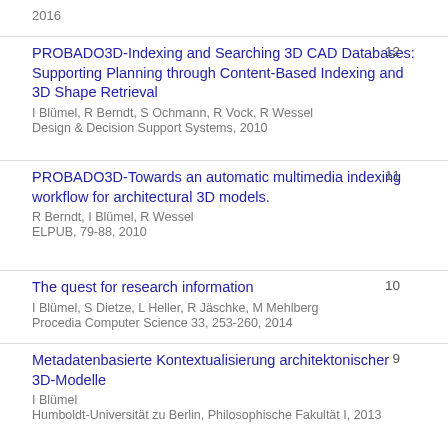2016
PROBADO3D-Indexing and Searching 3D CAD Databases: Supporting Planning through Content-Based Indexing and 3D Shape Retrieval
I Blümel, R Berndt, S Ochmann, R Vock, R Wessel
Design & Decision Support Systems, 2010
12
PROBADO3D-Towards an automatic multimedia indexing workflow for architectural 3D models.
R Berndt, I Blümel, R Wessel
ELPUB, 79-88, 2010
11
The quest for research information
I Blümel, S Dietze, L Heller, R Jäschke, M Mehlberg
Procedia Computer Science 33, 253-260, 2014
10
Metadatenbasierte Kontextualisierung architektonischer 3D-Modelle
I Blümel
Humboldt-Universität zu Berlin, Philosophische Fakultät I, 2013
9